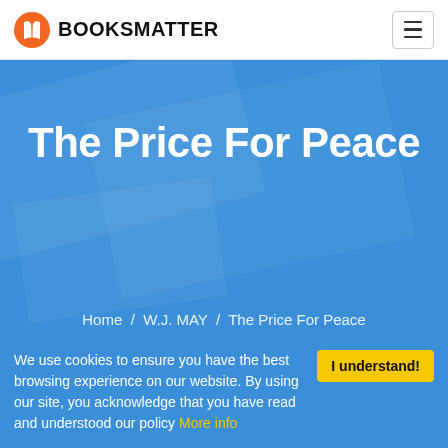BOOKSMATTER
The Price For Peace
Home / W.J. MAY / The Price For Peace
The Price For Peace Summary
We use cookies to ensure you have the best browsing experience on our website. By using our site, you acknowledge that you have read and understood our policy More info